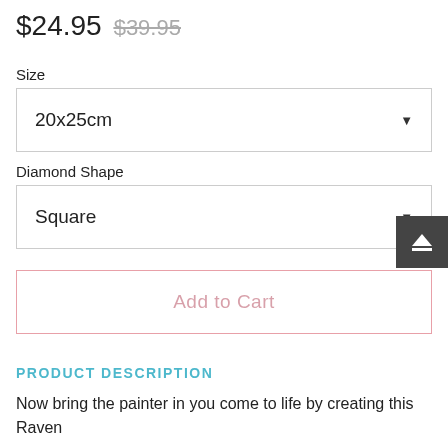$24.95  $39.95
Size
20x25cm
Diamond Shape
Square
Add to Cart
PRODUCT DESCRIPTION
Now bring the painter in you come to life by creating this Raven